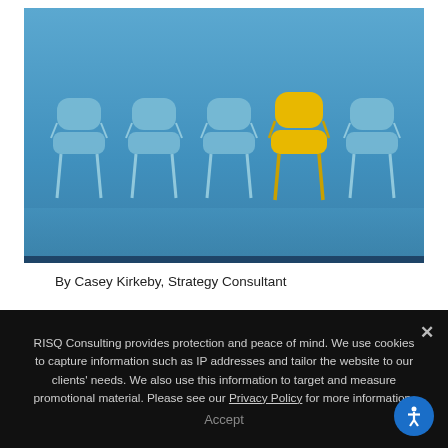[Figure (photo): Photo of a row of blue chairs with one yellow chair among them, set against a blue background, representing standing out or being different.]
By Casey Kirkeby, Strategy Consultant
RISQ Consulting provides protection and peace of mind. We use cookies to capture information such as IP addresses and tailor the website to our clients' needs. We also use this information to target and measure promotional material. Please see our Privacy Policy for more information.
Accept